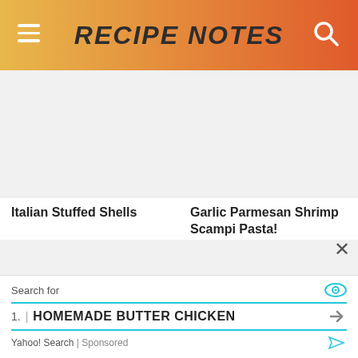RECIPE NOTES
Italian Stuffed Shells
Garlic Parmesan Shrimp Scampi Pasta!
CREAMY TUSCAN GARLIC CHICKEN
Cinnamon Crunch Banana Bread
Search for
1. HOMEMADE BUTTER CHICKEN
Yahoo! Search | Sponsored